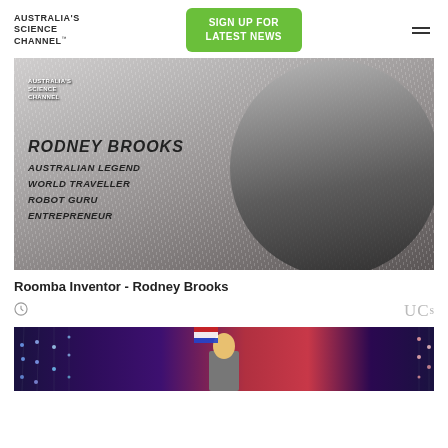[Figure (logo): Australia's Science Channel logo text]
[Figure (other): Green 'SIGN UP FOR LATEST NEWS' button]
[Figure (other): Hamburger menu icon]
[Figure (photo): Poster/thumbnail image for Rodney Brooks video. Shows a stylized black and white illustration of a man in a suit with text overlay: AUSTRALIA'S SCIENCE CHANNEL, RODNEY BROOKS, AUSTRALIAN LEGEND, WORLD TRAVELLER, ROBOT GURU, ENTREPRENEUR]
Roomba Inventor - Rodney Brooks
[Figure (photo): Partial thumbnail of a second video showing a person on stage with colorful lights in the background]